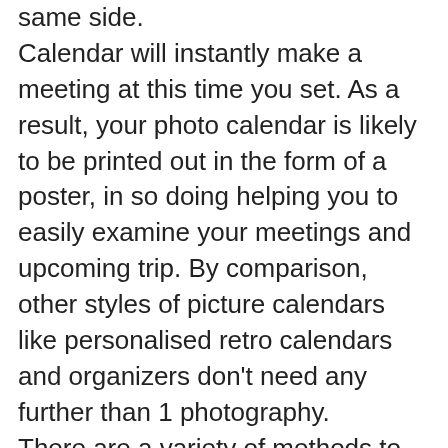same side. Calendar will instantly make a meeting at this time you set. As a result, your photo calendar is likely to be printed out in the form of a poster, in so doing helping you to easily examine your meetings and upcoming trip. By comparison, other styles of picture calendars like personalised retro calendars and organizers don't need any further than 1 photography. There are a variety of methods to create your personal calendar. Once you create your personal calendar you might find innovative and add selected themes and images to certain weeks. The majority of us are aware it is possible to make your personal calendar utilizing application on your pc You simply devote the year you will